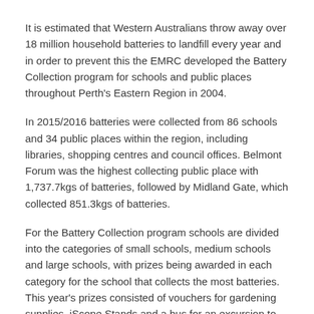It is estimated that Western Australians throw away over 18 million household batteries to landfill every year and in order to prevent this the EMRC developed the Battery Collection program for schools and public places throughout Perth's Eastern Region in 2004.
In 2015/2016 batteries were collected from 86 schools and 34 public places within the region, including libraries, shopping centres and council offices. Belmont Forum was the highest collecting public place with 1,737.7kgs of batteries, followed by Midland Gate, which collected 851.3kgs of batteries.
For the Battery Collection program schools are divided into the categories of small schools, medium schools and large schools, with prizes being awarded in each category for the school that collects the most batteries. This year's prizes consisted of vouchers for gardening supplies, iScope Stands and a bus for an excursion to the Red Hill Waste Management Facility. The results of the top schools are listed below, with Glen Forrest Primary School taking out the Most Improved title for 2015/2016:
Small School Category